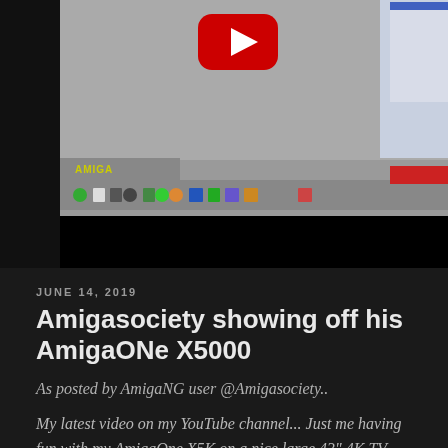[Figure (screenshot): Screenshot of an AmigaOS desktop environment shown in a YouTube video thumbnail. The top portion shows a YouTube play button overlay on a gray Amiga desktop. The Amiga workbench toolbar is visible with icons and the Amiga logo. A red taskbar-like area is visible, and the bottom is a black letterbox bar.]
JUNE 14, 2019
Amigasociety showing off his AmigaONe X5000
As posted by AmigaNG user @Amigasociety..
My latest video on my YouTube channel... Just me having fun with my AmigaOne X5K on a nice large 43" 4K TV. Check it out if you have